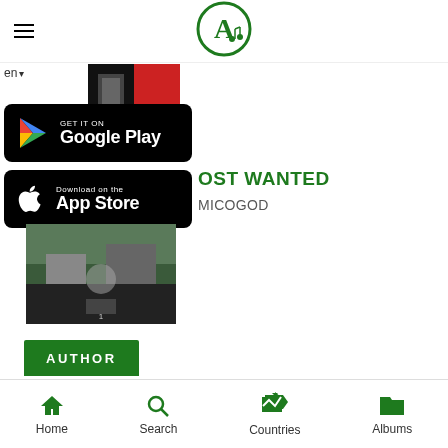[Figure (logo): Circular green logo with white letter A and music note]
en
[Figure (photo): Small album thumbnail image]
[Figure (screenshot): GET IT ON Google Play button (black rounded rectangle)]
[Figure (screenshot): Download on the App Store button (black rounded rectangle)]
OST WANTED
MICOGOD
[Figure (photo): Album cover art showing street scene with vehicles]
AUTHOR
[Figure (photo): Circular author portrait photo, person in orange hoodie]